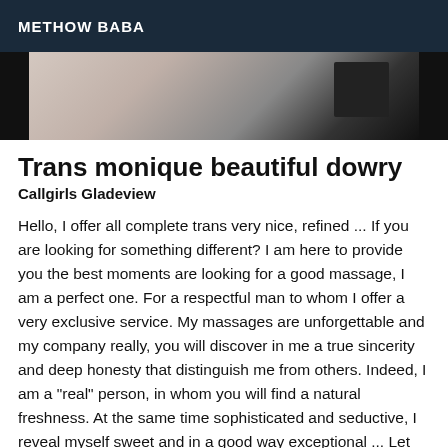METHOW BABA
[Figure (photo): Partial photo strip showing a cropped image with light and dark tones, appearing to be a person's photo partially visible]
Trans monique beautiful dowry
Callgirls Gladeview
Hello, I offer all complete trans very nice, refined ... If you are looking for something different? I am here to provide you the best moments are looking for a good massage, I am a perfect one. For a respectful man to whom I offer a very exclusive service. My massages are unforgettable and my company really, you will discover in me a true sincerity and deep honesty that distinguish me from others. Indeed, I am a "real" person, in whom you will find a natural freshness. At the same time sophisticated and seductive, I reveal myself sweet and in a good way exceptional ... Let yourself relax for my simplicity ... I do not answer to number mask / no sms